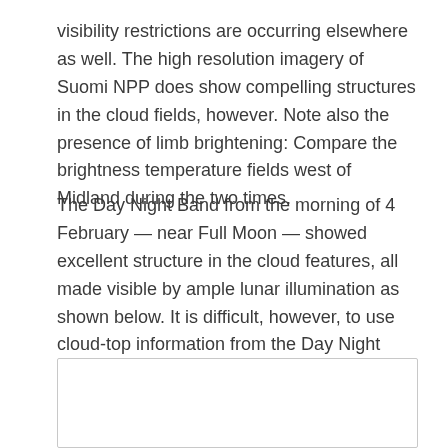visibility restrictions are occurring elsewhere as well. The high resolution imagery of Suomi NPP does show compelling structures in the cloud fields, however. Note also the presence of limb brightening: Compare the brightness temperature fields west of Midland during the two times.
The Day Night Band from the morning of 4 February — near Full Moon — showed excellent structure in the cloud features, all made visible by ample lunar illumination as shown below. It is difficult, however, to use cloud-top information from the Day Night band to infer the presence of IFR conditions.
[Figure (photo): A partially visible image box (white rectangle with border) at the bottom of the page, content not visible.]